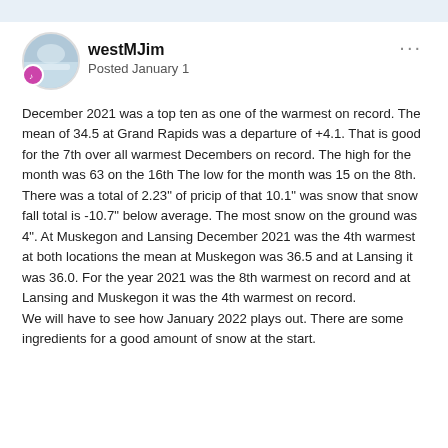westMJim
Posted January 1
December 2021 was a top ten as one of the warmest on record. The mean of 34.5 at Grand Rapids was a departure of +4.1. That is good for the 7th over all warmest Decembers on record. The high for the month was 63 on the 16th The low for the month was 15 on the 8th. There was a total of 2.23" of pricip of that 10.1" was snow that snow fall total is -10.7" below average. The most snow on the ground was 4". At Muskegon and Lansing December 2021 was the 4th warmest at both locations the mean at Muskegon was 36.5 and at Lansing it was 36.0. For the year 2021 was the 8th warmest on record and at Lansing and Muskegon it was the 4th warmest on record.
We will have to see how January 2022 plays out. There are some ingredients for a good amount of snow at the start.